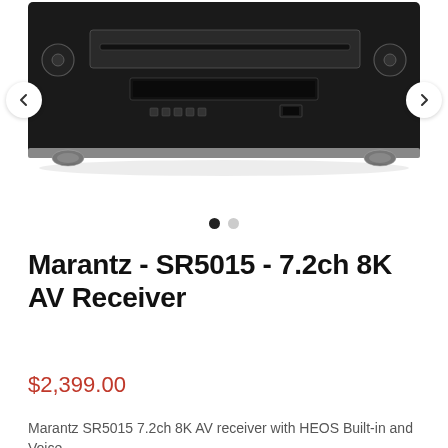[Figure (photo): Photo of Marantz SR5015 AV Receiver front panel view, black unit with silver accents, disc slot, controls, shown on white background. Navigation arrows on left and right sides.]
Marantz - SR5015 - 7.2ch 8K AV Receiver
$2,399.00
Marantz SR5015 7.2ch 8K AV receiver with HEOS Built-in and Voice